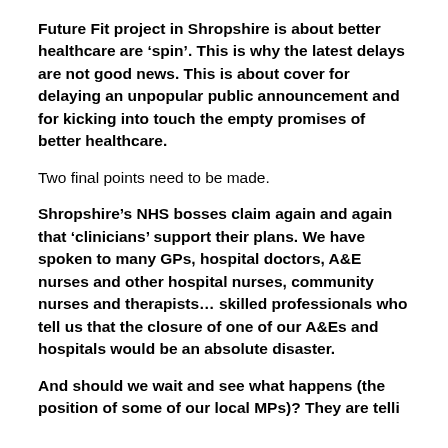Future Fit project in Shropshire is about better healthcare are 'spin'. This is why the latest delays are not good news. This is about cover for delaying an unpopular public announcement and for kicking into touch the empty promises of better healthcare.
Two final points need to be made.
Shropshire's NHS bosses claim again and again that 'clinicians' support their plans. We have spoken to many GPs, hospital doctors, A&E nurses and other hospital nurses, community nurses and therapists… skilled professionals who tell us that the closure of one of our A&Es and hospitals would be an absolute disaster.
And should we wait and see what happens (the position of some of our local MPs)? They are telling...